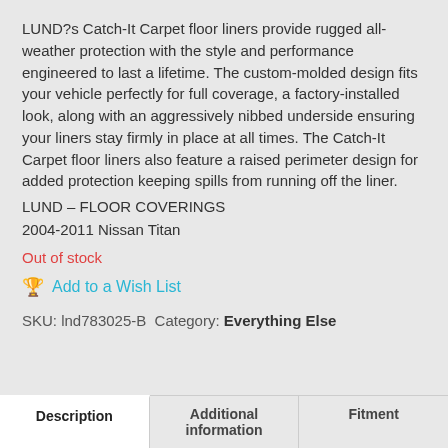LUND?s Catch-It Carpet floor liners provide rugged all-weather protection with the style and performance engineered to last a lifetime. The custom-molded design fits your vehicle perfectly for full coverage, a factory-installed look, along with an aggressively nibbed underside ensuring your liners stay firmly in place at all times. The Catch-It Carpet floor liners also feature a raised perimeter design for added protection keeping spills from running off the liner.
LUND – FLOOR COVERINGS
2004-2011 Nissan Titan
Out of stock
Add to a Wish List
SKU: lnd783025-B Category: Everything Else
Description | Additional information | Fitment